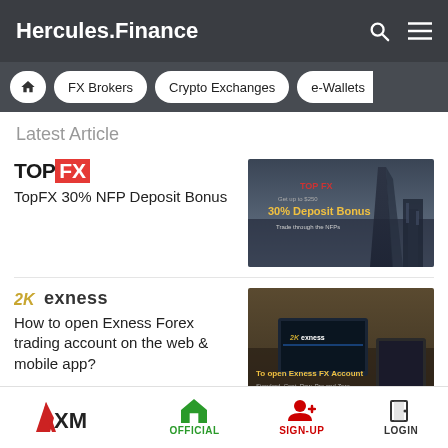Hercules.Finance
FX Brokers
Crypto Exchanges
e-Wallets
Latest Article
[Figure (screenshot): TopFX 30% Deposit Bonus advertisement banner with city skyline background]
TopFX 30% NFP Deposit Bonus
[Figure (screenshot): Exness FX Account opening advertisement with laptop and trading platform]
How to open Exness Forex trading account on the web & mobile app?
XM OFFICIAL SIGN-UP LOGIN